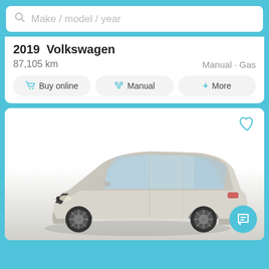Make / model / year (search placeholder)
2019  Volkswagen
87,105 km
Manual · Gas
Buy online
Manual
+ More
[Figure (photo): Silver Volvo sedan (S60 or similar) parked at 3/4 front angle on a gray/white background with heart/favorite icon in top right corner and chat bubble button in bottom right corner]